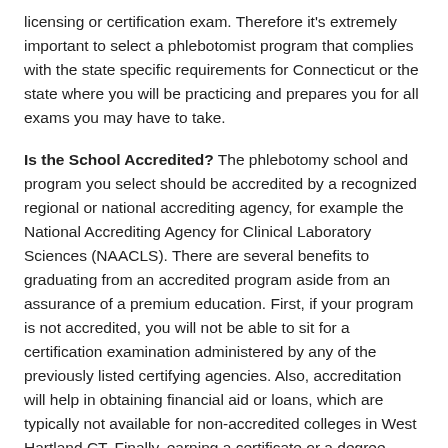licensing or certification exam. Therefore it's extremely important to select a phlebotomist program that complies with the state specific requirements for Connecticut or the state where you will be practicing and prepares you for all exams you may have to take.
Is the School Accredited? The phlebotomy school and program you select should be accredited by a recognized regional or national accrediting agency, for example the National Accrediting Agency for Clinical Laboratory Sciences (NAACLS). There are several benefits to graduating from an accredited program aside from an assurance of a premium education. First, if your program is not accredited, you will not be able to sit for a certification examination administered by any of the previously listed certifying agencies. Also, accreditation will help in obtaining financial aid or loans, which are typically not available for non-accredited colleges in West Hartland CT. Finally, earning a certificate or a degree